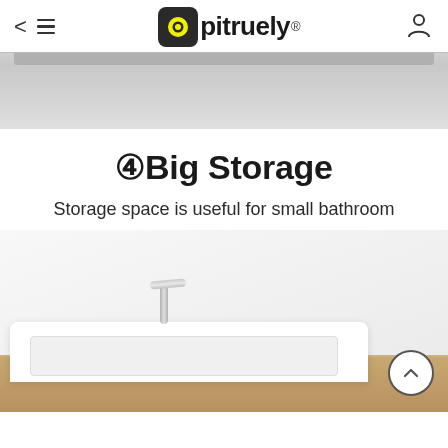Opitruely
[Figure (photo): Top portion of a bathroom vanity drawer in light gray, cropped close showing drawer front and top edge]
④Big Storage
Storage space is useful for small bathroom
[Figure (photo): White bathroom sink vanity with chrome faucet and wooden cabinet base, photographed from above at an angle]